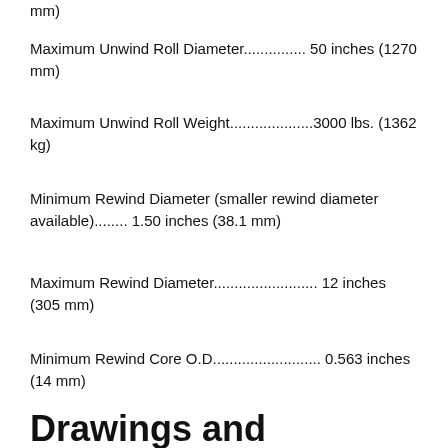mm)
Maximum Unwind Roll Diameter............... 50 inches (1270 mm)
Maximum Unwind Roll Weight....................3000 lbs. (1362 kg)
Minimum Rewind Diameter (smaller rewind diameter available)........ 1.50 inches (38.1 mm)
Maximum Rewind Diameter......................... 12 inches (305 mm)
Minimum Rewind Core O.D.......................... 0.563 inches (14 mm)
Maximum Rewind Core O.D..........................1.25 inches (32 mm)
Drawings and